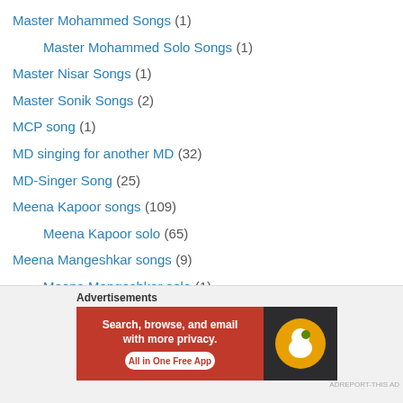Master Mohammed Songs (1)
Master Mohammed Solo Songs (1)
Master Nisar Songs (1)
Master Sonik Songs (2)
MCP song (1)
MD singing for another MD (32)
MD-Singer Song (25)
Meena Kapoor songs (109)
Meena Kapoor solo (65)
Meena Mangeshkar songs (9)
Meena Mangeshkar solo (1)
Meena Patki song (1)
Meena Patki solo song (1)
Meenakshi Shirodkar Songs (2)
Mehmood Song (5)
Melancholic song (634)
Advertisements
[Figure (infographic): DuckDuckGo advertisement banner: Search, browse, and email with more privacy. All in One Free App.]